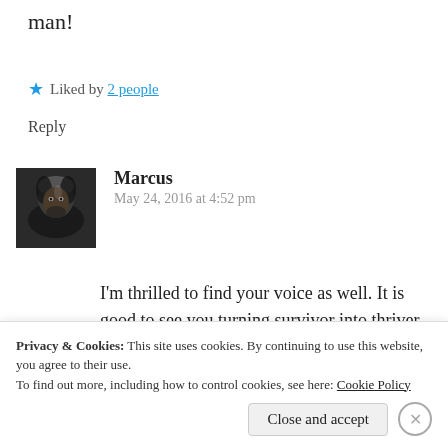man!
★ Liked by 2 people
Reply
[Figure (photo): Dark portrait avatar image of commenter Marcus]
Marcus
May 24, 2016 at 4:52 pm
I'm thrilled to find your voice as well. It is good to see you turning survivor into thriver. Even if in small steps 🙂
Privacy & Cookies: This site uses cookies. By continuing to use this website, you agree to their use.
To find out more, including how to control cookies, see here: Cookie Policy
Close and accept